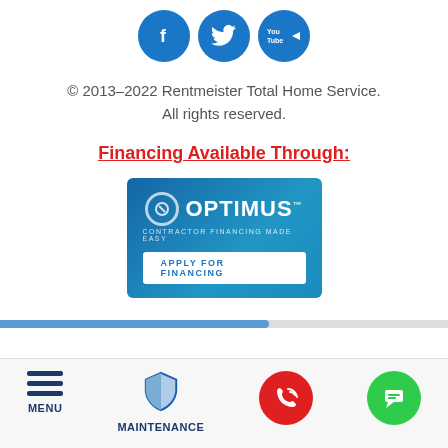[Figure (illustration): Three circular social media icons: Facebook (f), Twitter (bird), YouTube (play button with 'You Tube' text), all in blue circles]
© 2013–2022 Rentmeister Total Home Service. All rights reserved.
Financing Available Through:
[Figure (logo): Optimus contractor financing banner with logo and 'APPLY FOR FINANCING' button on blue background]
[Figure (infographic): Mobile app bottom navigation bar with Menu (hamburger), Maintenance (shield), phone call button (red circle), and chat button (green circle)]